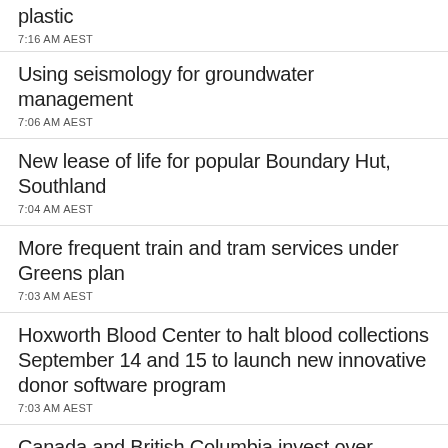plastic
7:16 AM AEST
Using seismology for groundwater management
7:06 AM AEST
New lease of life for popular Boundary Hut, Southland
7:04 AM AEST
More frequent train and tram services under Greens plan
7:03 AM AEST
Hoxworth Blood Center to halt blood collections September 14 and 15 to launch new innovative donor software program
7:03 AM AEST
Canada and British Columbia invest over